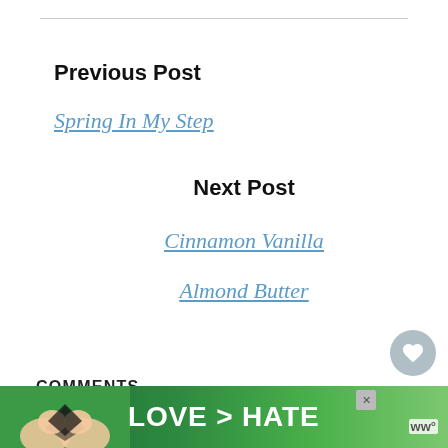Previous Post
Spring In My Step
Next Post
Cinnamon Vanilla Almond Butter
COMMENTS
[Figure (screenshot): What's Next panel showing a thumbnail image and text 'The Homestead...']
[Figure (photo): Advertisement banner showing hands making a heart shape with text 'LOVE > HATE' on a green background]